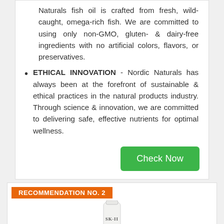Naturals fish oil is crafted from fresh, wild-caught, omega-rich fish. We are committed to using only non-GMO, gluten- & dairy-free ingredients with no artificial colors, flavors, or preservatives.
ETHICAL INNOVATION - Nordic Naturals has always been at the forefront of sustainable & ethical practices in the natural products industry. Through science & innovation, we are committed to delivering safe, effective nutrients for optimal wellness.
Check Now
RECOMMENDATION NO. 2
[Figure (photo): SK-II product tube, white with SK-II logo text]